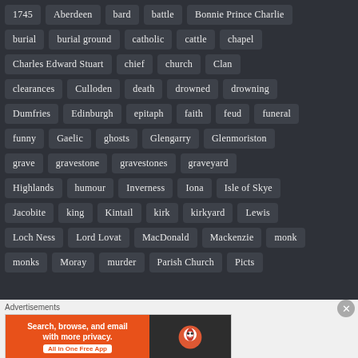1745
Aberdeen
bard
battle
Bonnie Prince Charlie
burial
burial ground
catholic
cattle
chapel
Charles Edward Stuart
chief
church
Clan
clearances
Culloden
death
drowned
drowning
Dumfries
Edinburgh
epitaph
faith
feud
funeral
funny
Gaelic
ghosts
Glengarry
Glenmoriston
grave
gravestone
gravestones
graveyard
Highlands
humour
Inverness
Iona
Isle of Skye
Jacobite
king
Kintail
kirk
kirkyard
Lewis
Loch Ness
Lord Lovat
MacDonald
Mackenzie
monk
monks
Moray
murder
Parish Church
Picts
Advertisements
[Figure (screenshot): DuckDuckGo advertisement banner: Search, browse, and email with more privacy. All in One Free App]